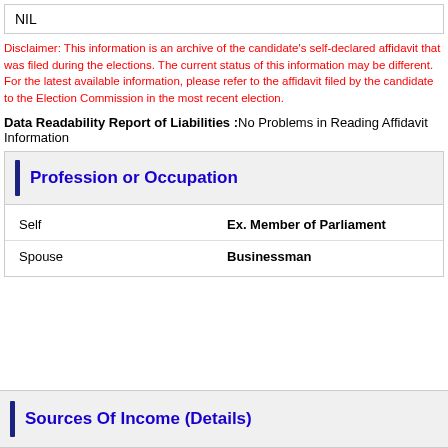NIL
Disclaimer: This information is an archive of the candidate's self-declared affidavit that was filed during the elections. The current status of this information may be different. For the latest available information, please refer to the affidavit filed by the candidate to the Election Commission in the most recent election.
Data Readability Report of Liabilities :No Problems in Reading Affidavit Information
Profession or Occupation
|  |  |
| --- | --- |
| Self | Ex. Member of Parliament |
| Spouse | Businessman |
Sources Of Income (Details)